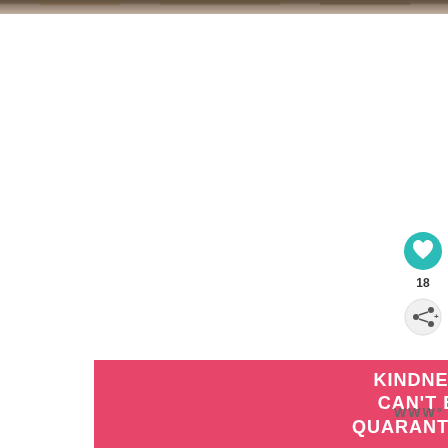[Figure (photo): Partial food photograph strip at the top of the page]
[Figure (infographic): Teal circular like/heart button with heart icon]
18
[Figure (infographic): Share button circle with share icon]
[Figure (photo): WHAT'S NEXT panel with food thumbnail and text: Whiskey Miso Pork Chops]
[Figure (photo): Advertisement banner: KINDNESS CAN'T BE QUARANTINED on pink background]